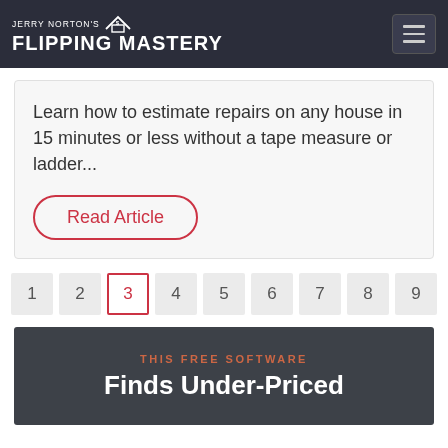Jerry Norton's Flipping Mastery
Learn how to estimate repairs on any house in 15 minutes or less without a tape measure or ladder...
Read Article
1
2
3
4
5
6
7
8
9
THIS FREE SOFTWARE
Finds Under-Priced